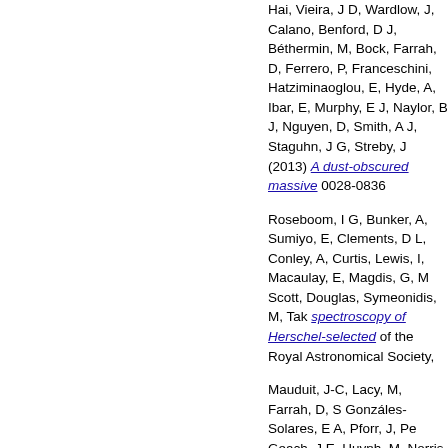Hai, Vieira, J D, Wardlow, J, Calano, Benford, D J, Béthermin, M, Bock, Farrah, D, Ferrero, P, Franceschini, Hatziminaoglou, E, Hyde, A, Ibar, E, Murphy, E J, Naylor, B J, Nguyen, D, Smith, A J, Staguhn, J G, Strebly, J (2013) A dust-obscured massive 0028-0836
Roseboom, I G, Bunker, A, Sumiyo, E, Clements, D L, Conley, A, Curtis, Lewis, I, Macaulay, E, Magdis, G, M Scott, Douglas, Symeonidis, M, Tak spectroscopy of Herschel-selected of the Royal Astronomical Society,
Mauduit, J-C, Lacy, M, Farrah, D, S Gonzáles-Solares, E A, Pforr, J, Pe Geach, J E, Huynh, M, Norris, R P, Bizzocchi, L, Bonfield, D, Castro, N S, Dyke, E, Edge, A, Ferguson, H C Hickey, S, Hodge, J A, Huang, J-S, Messias, H, Martínez-Sansigre, A, S, Readhead, A, Ridgway, S E, Rig A, Simpson, C J, Smail, I, Squires,